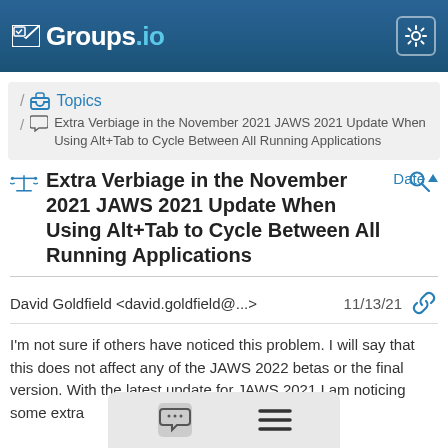Groups.io
/ Topics / Extra Verbiage in the November 2021 JAWS 2021 Update When Using Alt+Tab to Cycle Between All Running Applications
Extra Verbiage in the November 2021 JAWS 2021 Update When Using Alt+Tab to Cycle Between All Running Applications
David Goldfield <david.goldfield@...>  11/13/21
I'm not sure if others have noticed this problem. I will say that this does not affect any of the JAWS 2022 betas or the final version. With the latest update for JAWS 2021 I am noticing some extra